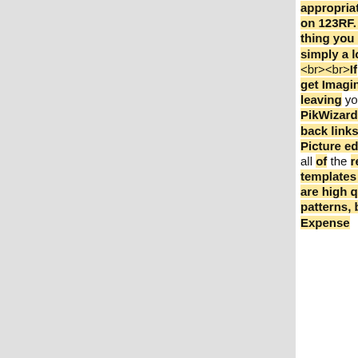appropriate right here on 123RF. Every little thing you require is simply a lookup away.<br><br>If you'd like to get Imaginative without leaving your browser, PikWizard supplies back links to an online Picture editor. Almost all of the resources and templates Listed below are high quality patterns, but none Expense
with a plan. If you wish to cancel for the duration of your free of charge trial period, pay a visit to the Strategies segment of the My Account website page in this article. To be sure seamless service, the demand will come about roughly four times ahead of your cost-free demo period ends. You may well be matter to your